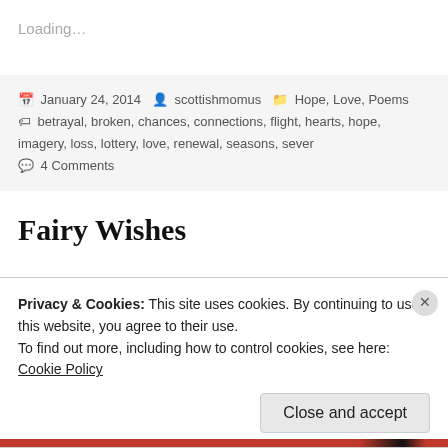Loading...
January 24, 2014  scottishmomus  Hope, Love, Poems  betrayal, broken, chances, connections, flight, hearts, hope, imagery, loss, lottery, love, renewal, seasons, sever  4 Comments
Fairy Wishes
Privacy & Cookies: This site uses cookies. By continuing to use this website, you agree to their use.
To find out more, including how to control cookies, see here: Cookie Policy
Close and accept